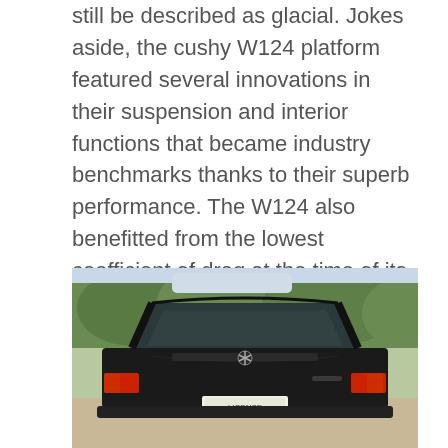still be described as glacial. Jokes aside, the cushy W124 platform featured several innovations in their suspension and interior functions that became industry benchmarks thanks to their superb performance. The W124 also benefitted from the lowest coefficient of drag at the time of its release. This was likely Mercedes trying to squeeze everything they could from the monumentally slow car in order to help it keep up with its Audi and BMW rivals. Which it did not.
[Figure (photo): Rear view of a black Mercedes-Benz W124 sedan parked outdoors with trees in the background. The car's trunk, rear window, taillights, and license plate are visible.]